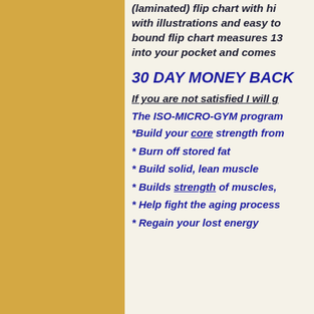(laminated) flip chart with illustrations and easy to bound flip chart measures 13 into your pocket and comes
30 DAY MONEY BACK
If you are not satisfied I will g
The ISO-MICRO-GYM program
*Build your core strength from
* Burn off stored fat
* Build solid, lean muscle
* Builds strength of muscles,
* Help fight the aging process
* Regain your lost energy